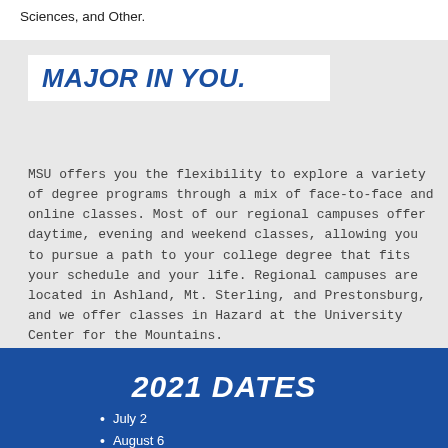Sciences, and Other.
MAJOR IN YOU.
MSU offers you the flexibility to explore a variety of degree programs through a mix of face-to-face and online classes. Most of our regional campuses offer daytime, evening and weekend classes, allowing you to pursue a path to your college degree that fits your schedule and your life. Regional campuses are located in Ashland, Mt. Sterling, and Prestonsburg, and we offer classes in Hazard at the University Center for the Mountains.
2021 DATES
July 2
August 6
September 3